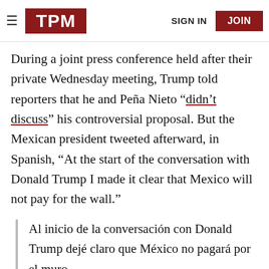TPM | SIGN IN | JOIN
During a joint press conference held after their private Wednesday meeting, Trump told reporters that he and Peña Nieto “didn’t discuss” his controversial proposal. But the Mexican president tweeted afterward, in Spanish, “At the start of the conversation with Donald Trump I made it clear that Mexico will not pay for the wall.”
Al inicio de la conversación con Donald Trump dejé claro que México no pagará por el muro.
— Enrique Peña Nieto (@EPN) August 31,